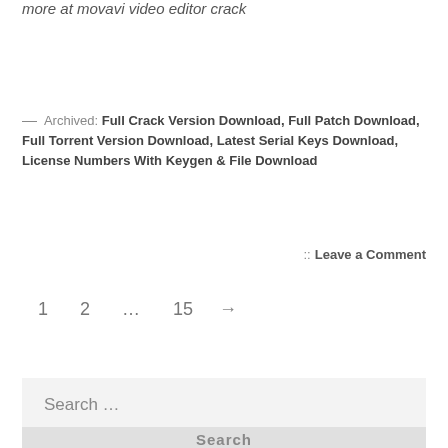More at movavi video editor crack
— Archived: Full Crack Version Download, Full Patch Download, Full Torrent Version Download, Latest Serial Keys Download, License Numbers With Keygen & File Download
:: Leave a Comment
1  2  …  15  →
Search …
Search